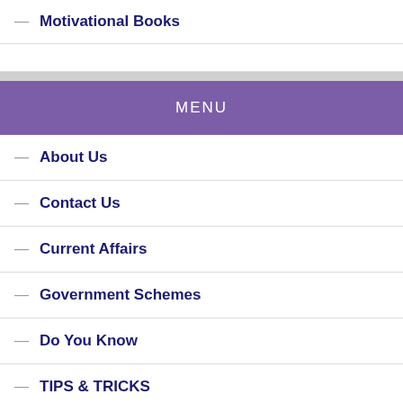— Motivational Books
MENU
— About Us
— Contact Us
— Current Affairs
— Government Schemes
— Do You Know
— TIPS & TRICKS
— University / Colleges